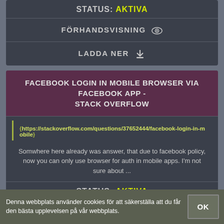STATUS: AKTIVA
FÖRHANDSVISNING
LADDA NER
FACEBOOK LOGIN IN MOBILE BROWSER VIA FACEBOOK APP - STACK OVERFLOW
https://stackoverflow.com/questions/37652444/facebook-login-in-mobile
Somwhere here already was answer, that due to facebook policy, now you can only use browser for auth in mobile apps. I'm not sure about ...
STATUS: AKTIVA
FÖRHANDSVISNING
Denna webbplats använder cookies för att säkerställa att du får den bästa upplevelsen på vår webbplats.